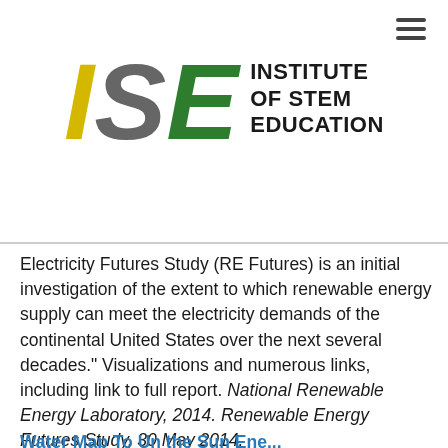[Figure (logo): ISE - Institute of STEM Education logo with yellow I, gray S, green E letters and bold black text]
Electricity Futures Study (RE Futures) is an initial investigation of the extent to which renewable energy supply can meet the electricity demands of the continental United States over the next several decades." Visualizations and numerous links, including link to full report. National Renewable Energy Laboratory, 2014. Renewable Energy Futures Study, 30 May 2014.
Water Map To Unthe Sun Ene...